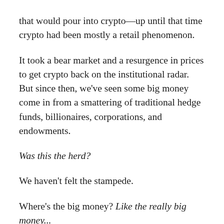that would pour into crypto—up until that time crypto had been mostly a retail phenomenon.
It took a bear market and a resurgence in prices to get crypto back on the institutional radar. But since then, we've seen some big money come in from a smattering of traditional hedge funds, billionaires, corporations, and endowments.
Was this the herd?
We haven't felt the stampede.
Where's the big money? Like the really big money...
Where are the sovereign wealth funds and pension plans with their millions of beneficiaries?
These entities operate massive pools of capital